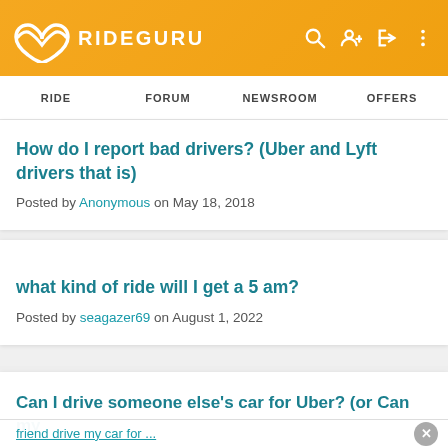RIDEGURU — RIDE | FORUM | NEWSROOM | OFFERS
How do I report bad drivers? (Uber and Lyft drivers that is)
Posted by Anonymous on May 18, 2018
what kind of ride will I get a 5 am?
Posted by seagazer69 on August 1, 2022
Can I drive someone else's car for Uber? (or Can my friend drive my car for ...
Posted by SmittenKitten on December 20, 2016